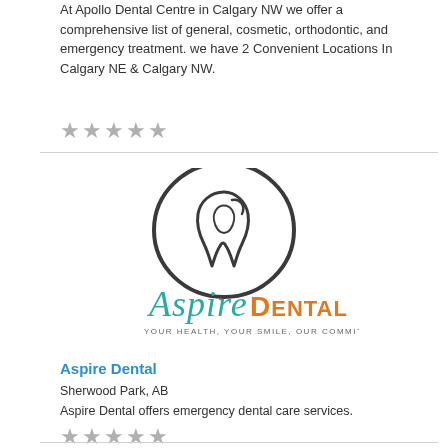At Apollo Dental Centre in Calgary NW we offer a comprehensive list of general, cosmetic, orthodontic, and emergency treatment. we have 2 Convenient Locations In Calgary NE & Calgary NW.
★★★★★
[Figure (logo): Aspire Dental logo with tooth icon in dark circle, teal cursive 'Aspire' and orange 'DENTAL' text, tagline: YOUR HEALTH, YOUR SMILE, OUR COMMITMENT]
Aspire Dental
Sherwood Park, AB
Aspire Dental offers emergency dental care services.
★★★★★